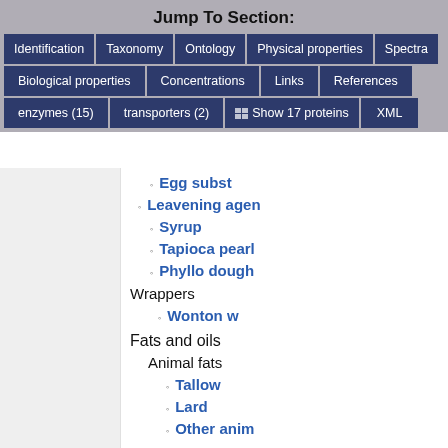Jump To Section:
Identification | Taxonomy | Ontology | Physical properties | Spectra
Biological properties | Concentrations | Links | References
enzymes (15) | transporters (2) | Show 17 proteins | XML
Egg subst…
Leavening agen…
Syrup
Tapioca pearl
Phyllo dough
Wrappers
Wonton w…
Fats and oils
Animal fats
Tallow
Lard
Other anim…